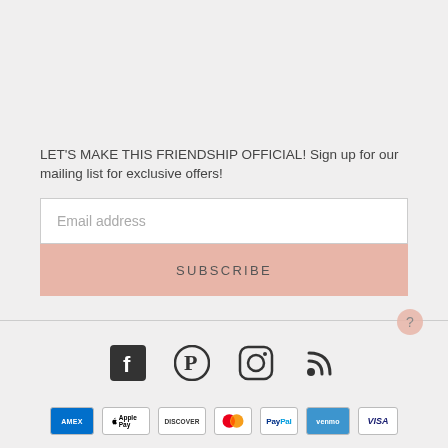LET'S MAKE THIS FRIENDSHIP OFFICIAL! Sign up for our mailing list for exclusive offers!
[Figure (screenshot): Email address input field with placeholder text 'Email address']
[Figure (screenshot): SUBSCRIBE button with pink/rose background]
[Figure (infographic): Social media icons: Facebook, Pinterest, Instagram, RSS feed]
[Figure (infographic): Payment method icons: AMEX, Apple Pay, Discover, Mastercard, PayPal, Venmo, Visa]